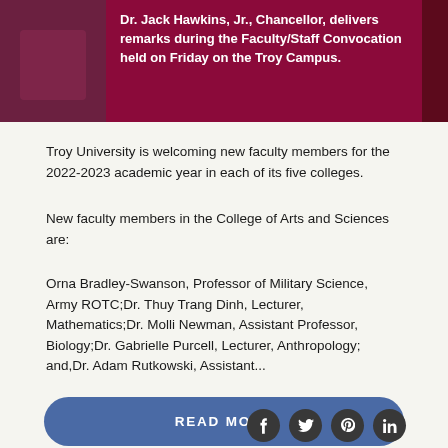[Figure (photo): Dr. Jack Hawkins, Jr., Chancellor, delivers remarks during the Faculty/Staff Convocation held on Friday on the Troy Campus. Banner with dark red/maroon background and photo on left side.]
Dr. Jack Hawkins, Jr., Chancellor, delivers remarks during the Faculty/Staff Convocation held on Friday on the Troy Campus.
Troy University is welcoming new faculty members for the 2022-2023 academic year in each of its five colleges.
New faculty members in the College of Arts and Sciences are:
Orna Bradley-Swanson, Professor of Military Science, Army ROTC;Dr. Thuy Trang Dinh, Lecturer, Mathematics;Dr. Molli Newman, Assistant Professor, Biology;Dr. Gabrielle Purcell, Lecturer, Anthropology; and,Dr. Adam Rutkowski, Assistant...
READ MORE